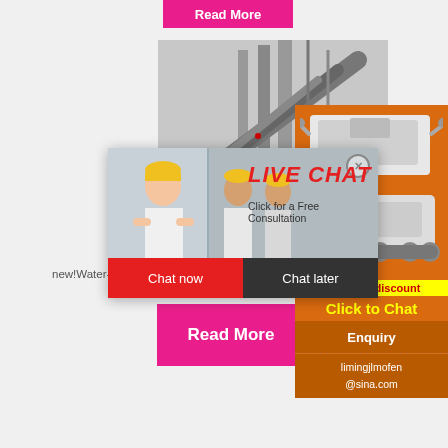[Figure (other): Pink 'Read More' button at top of page]
[Figure (photo): Construction site with conveyor belts and machinery, industrial setting]
Gyp... line
new!Water-proof gypsum partition Wallbo...
[Figure (other): Pink 'Read More' button at bottom of page]
[Figure (photo): Orange sidebar with mining/crushing machinery images, Enjoy 3% discount, Click to Chat, Enquiry, limingjlmofen@sina.com]
[Figure (other): Live Chat popup overlay with workers in hard hats, LIVE CHAT heading, Click for a Free Consultation, Chat now and Chat later buttons]